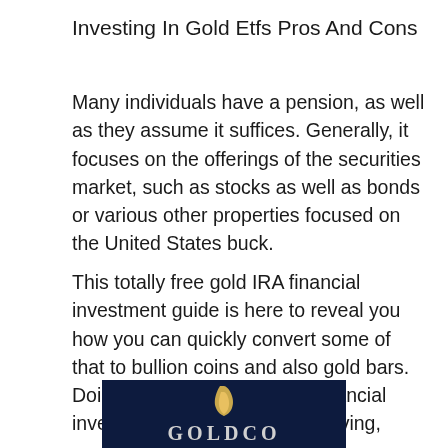Investing In Gold Etfs Pros And Cons
Many individuals have a pension, as well as they assume it suffices. Generally, it focuses on the offerings of the securities market, such as stocks as well as bonds or various other properties focused on the United States buck.
This totally free gold IRA financial investment guide is here to reveal you how you can quickly convert some of that to bullion coins and also gold bars. Doing this may protect your financial investment from rising cost of living, economic uncertainty, and also money reduction.
[Figure (logo): Goldco logo on dark navy blue background with a golden leaf/flame symbol above stylized text reading 'GOLDCO']